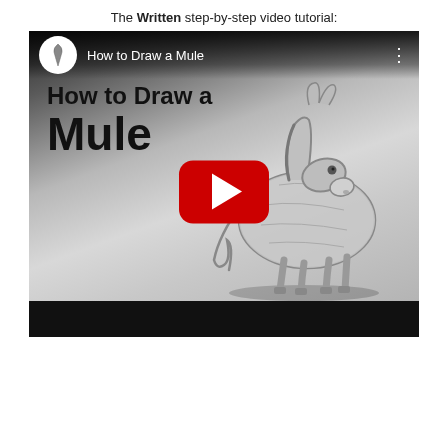The Written step-by-step video tutorial:
[Figure (screenshot): YouTube video thumbnail for 'How to Draw a Mule' showing a pencil sketch of a mule with a red YouTube play button overlay, video title in the top bar, and large text overlay reading 'How to Draw a Mule']